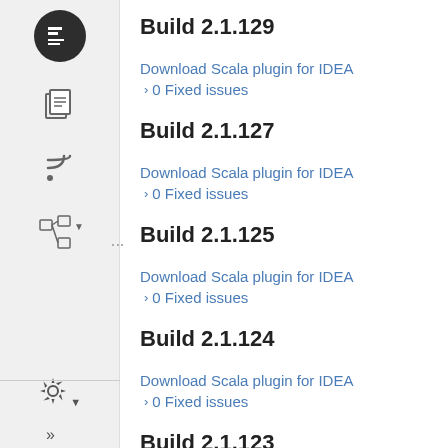[Figure (screenshot): Sidebar with JetBrains-style navigation icons: logo, documents, RSS, tree/hierarchy, gear settings, double-arrow]
Build 2.1.129
Download Scala plugin for IDEA
› 0 Fixed issues
Build 2.1.127
Download Scala plugin for IDEA
› 0 Fixed issues
Build 2.1.125
Download Scala plugin for IDEA
› 0 Fixed issues
Build 2.1.124
Download Scala plugin for IDEA
› 0 Fixed issues
Build 2.1.123